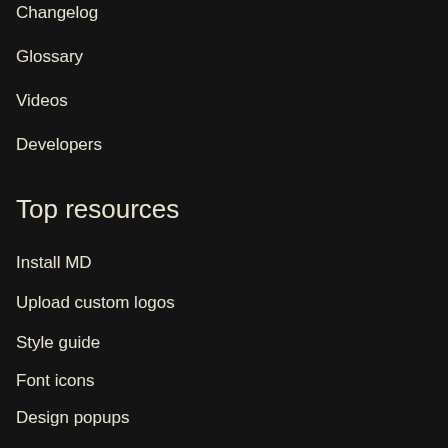Changelog
Glossary
Videos
Developers
Top resources
Install MD
Upload custom logos
Style guide
Font icons
Design popups
Deploy popups
More products